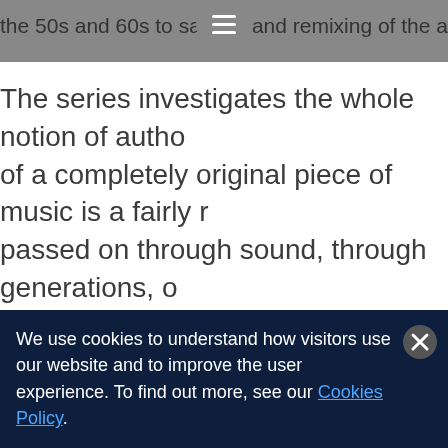the 50s and 60s to sa… and remixing of the …
The series investigates the whole notion of autho… of a completely original piece of music is a fairly r… passed on through sound, through generations, … the invention of written music. Only gradually, an… implementation of written notation, did it becom… a composer to sign his name to a piece of music a…
We use cookies to understand how visitors use our website and to improve the user experience. To find out more, see our Cookies Policy.